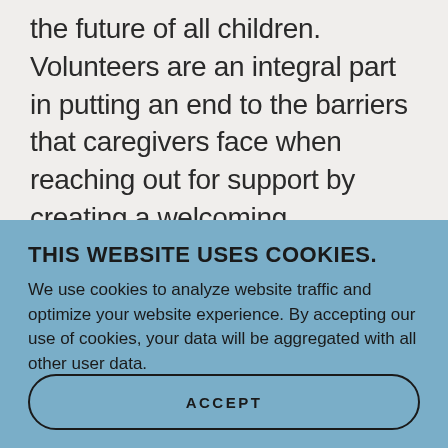the future of all children. Volunteers are an integral part in putting an end to the barriers that caregivers face when reaching out for support by creating a welcoming, nonjudgemental environment. Together, we strive to live in a society that prioritizes the security, well-being and support of children. It takes a village to
THIS WEBSITE USES COOKIES.
We use cookies to analyze website traffic and optimize your website experience. By accepting our use of cookies, your data will be aggregated with all other user data.